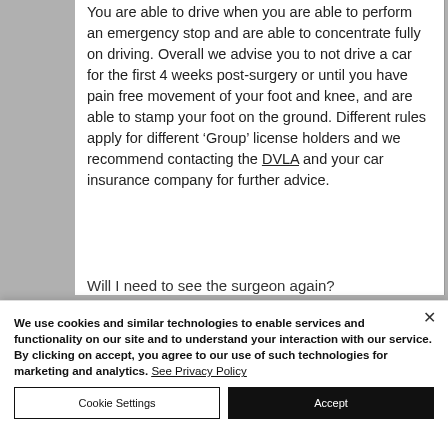You are able to drive when you are able to perform an emergency stop and are able to concentrate fully on driving. Overall we advise you to not drive a car for the first 4 weeks post-surgery or until you have pain free movement of your foot and knee, and are able to stamp your foot on the ground. Different rules apply for different ‘Group’ license holders and we recommend contacting the DVLA and your car insurance company for further advice.
Will I need to see the surgeon again?
We use cookies and similar technologies to enable services and functionality on our site and to understand your interaction with our service. By clicking on accept, you agree to our use of such technologies for marketing and analytics. See Privacy Policy